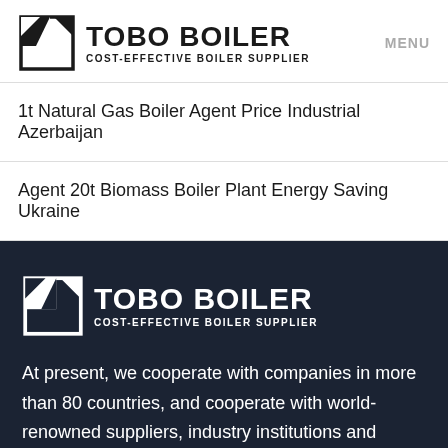[Figure (logo): Tobo Boiler logo with geometric icon and text 'TOBO BOILER / COST-EFFECTIVE BOILER SUPPLIER' on white background, with MENU text on the right]
1t Natural Gas Boiler Agent Price Industrial Azerbaijan
Agent 20t Biomass Boiler Plant Energy Saving Ukraine
[Figure (logo): Tobo Boiler logo with geometric icon and text 'TOBO BOILER / COST-EFFECTIVE BOILER SUPPLIER' on dark navy background]
At present, we cooperate with companies in more than 80 countries, and cooperate with world-renowned suppliers, industry institutions and research institutions. We have